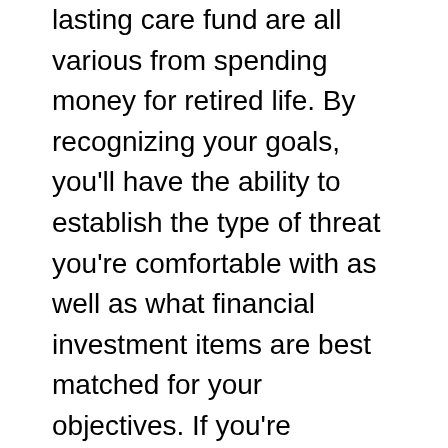lasting care fund are all various from spending money for retired life. By recognizing your goals, you'll have the ability to establish the type of threat you're comfortable with as well as what financial investment items are best matched for your objectives. If you're intending to invest for the lasting, you must take into consideration shares, which are thought about growth financial investments. Shares might expand in value over an extended period of time, as well as you may also obtain rewards. next
Speculation and also investment are two separate activities. The former includes purchasing properties for the long-lasting while conjecture focuses on taking advantage of market inefficiencies to make money in the short-term.